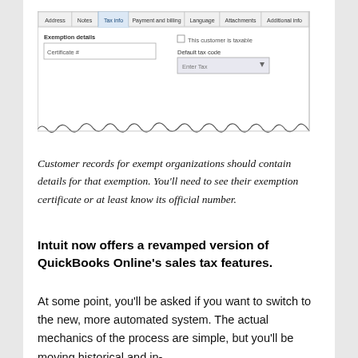[Figure (screenshot): Screenshot of QuickBooks customer record showing Tax info tab with fields: Exemption details (text field with 'Certificate #'), checkbox 'This customer is taxable', Default tax code dropdown (Enter Tax), with torn/jagged bottom edge. Tabs visible: Address, Notes, Tax info (active/highlighted), Payment and billing, Language, Attachments, Additional info.]
Customer records for exempt organizations should contain details for that exemption. You'll need to see their exemption certificate or at least know its official number.
Intuit now offers a revamped version of QuickBooks Online's sales tax features.
At some point, you'll be asked if you want to switch to the new, more automated system. The actual mechanics of the process are simple, but you'll be moving historical and in-